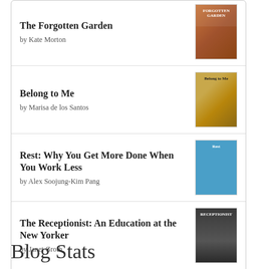The Forgotten Garden by Kate Morton
Belong to Me by Marisa de los Santos
Rest: Why You Get More Done When You Work Less by Alex Soojung-Kim Pang
The Receptionist: An Education at the New Yorker by Janet Groth
[Figure (logo): Goodreads logo button with rounded rectangle border]
Blog Stats